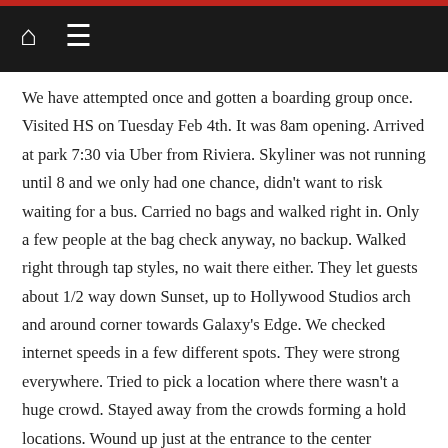[Navigation bar with home and menu icons]
We have attempted once and gotten a boarding group once. Visited HS on Tuesday Feb 4th. It was 8am opening. Arrived at park 7:30 via Uber from Riviera. Skyliner was not running until 8 and we only had one chance, didn't want to risk waiting for a bus. Carried no bags and walked right in. Only a few people at the bag check anyway, no backup. Walked right through tap styles, no wait there either. They let guests about 1/2 way down Sunset, up to Hollywood Studios arch and around corner towards Galaxy's Edge. We checked internet speeds in a few different spots. They were strong everywhere. Tried to pick a location where there wasn't a huge crowd. Stayed away from the crowds forming a hold locations. Wound up just at the entrance to the center courtyard. Used a second phone as a clock timer in order to have a second hand counting down. Closed and opened ap just after 8am. Received boarding group 45 which was called about 4 hours later at noon. Maybe 20 minutes in que before the ride. I feel like if you're in the park at opening time,